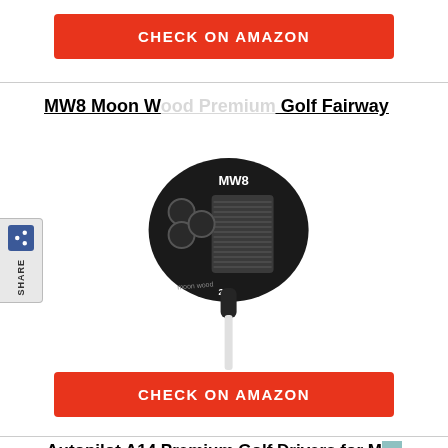[Figure (other): Red 'CHECK ON AMAZON' button at top of page]
MW8 Moon Wood Premium Golf Fairway
[Figure (photo): MW8 Moon Wood golf fairway club head, dark/black finish, showing face with grooves and MW8 logo on crown, with white shaft]
[Figure (other): Red 'CHECK ON AMAZON' button below product image]
Autopilot A14 Premium Golf Drivers for Men & Women